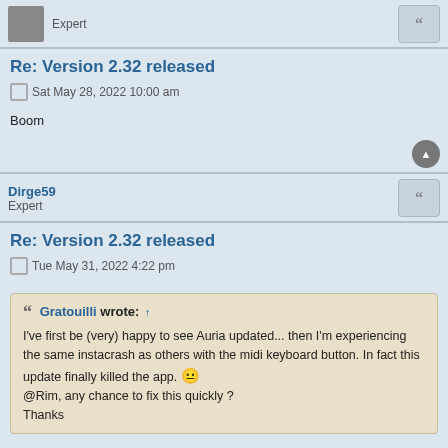Expert
Re: Version 2.32 released
Sat May 28, 2022 10:00 am
Boom
Dirge59
Expert
Re: Version 2.32 released
Tue May 31, 2022 4:22 pm
Gratouilli wrote: ↑
I've first be (very) happy to see Auria updated... then I'm experiencing the same instacrash as others with the midi keyboard button. In fact this update finally killed the app. 😐
@Rim, any chance to fix this quickly ?
Thanks
At least bring it back to its previous state instead of sabotaging abandonware!